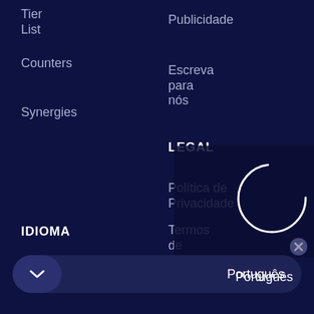Tier List
Counters
Synergies
Publicidade
Escreva para nós
LEGAL
Política de Privacidade
Termos de serviço
Configurações de bolos
IDIOMA
Português
[Figure (illustration): Loading spinner circle outline and dark overlay panel on right side]
[Figure (other): Close/cancel circular button icon top right]